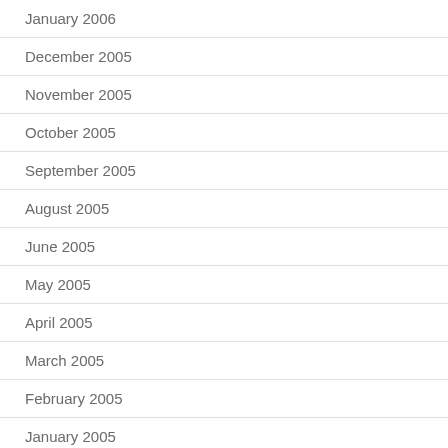January 2006
December 2005
November 2005
October 2005
September 2005
August 2005
June 2005
May 2005
April 2005
March 2005
February 2005
January 2005
December 2004
November 2004